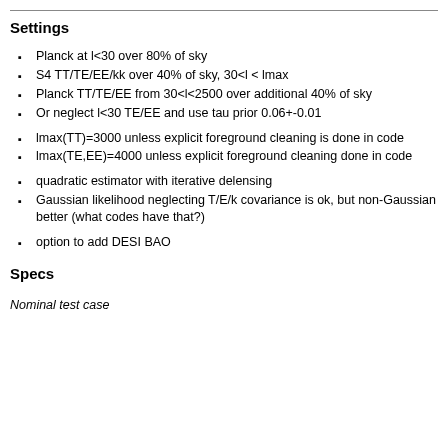Settings
Planck at l<30 over 80% of sky
S4 TT/TE/EE/kk over 40% of sky, 30<l < lmax
Planck TT/TE/EE from 30<l<2500 over additional 40% of sky
Or neglect l<30 TE/EE and use tau prior 0.06+-0.01
lmax(TT)=3000 unless explicit foreground cleaning is done in code
lmax(TE,EE)=4000 unless explicit foreground cleaning done in code
quadratic estimator with iterative delensing
Gaussian likelihood neglecting T/E/k covariance is ok, but non-Gaussian better (what codes have that?)
option to add DESI BAO
Specs
Nominal test case